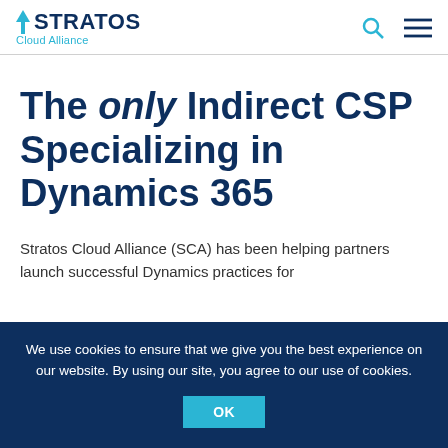STRATOS Cloud Alliance
The only Indirect CSP Specializing in Dynamics 365
Stratos Cloud Alliance (SCA) has been helping partners launch successful Dynamics practices for
We use cookies to ensure that we give you the best experience on our website. By using our site, you agree to our use of cookies. OK